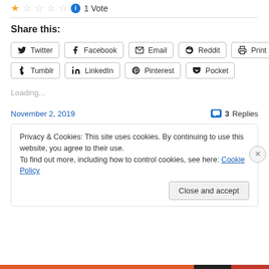1 Vote
Share this:
Twitter
Facebook
Email
Reddit
Print
Tumblr
LinkedIn
Pinterest
Pocket
Loading...
November 2, 2019
3 Replies
Privacy & Cookies: This site uses cookies. By continuing to use this website, you agree to their use.
To find out more, including how to control cookies, see here: Cookie Policy
Close and accept